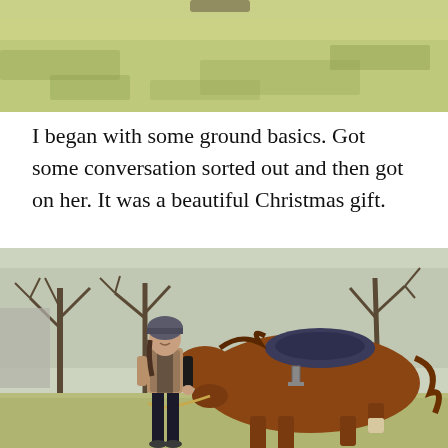[Figure (photo): Top portion of a photo showing a grassy field with yellowish-green grass, appears to be an outdoor scene, partially cropped at top of page.]
I began with some ground basics. Got some conversation sorted out and then got on her. It was a beautiful Christmas gift.
[Figure (photo): A person wearing a helmet and vest stands in a grassy field holding a lead rope attached to a chestnut horse with a dark saddle. Bare trees are visible in the background.]